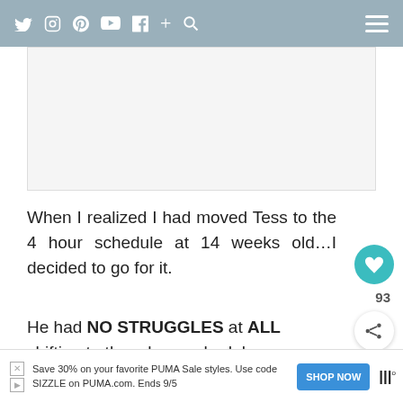Twitter Instagram Pinterest YouTube Facebook + Search [hamburger menu]
[Figure (other): White/light gray advertisement placeholder rectangle]
When I realized I had moved Tess to the 4 hour schedule at 14 weeks old…I decided to go for it.
He had NO STRUGGLES at ALL shifting to the 4 hour schedule.
[Figure (other): Save 30% on your favorite PUMA Sale styles. Use code SIZZLE on PUMA.com. Ends 9/5 [SHOP NOW button] [PUMA logo]]